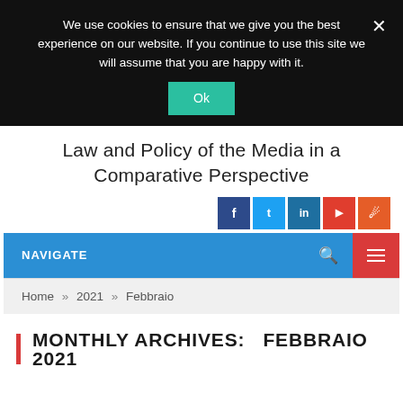We use cookies to ensure that we give you the best experience on our website. If you continue to use this site we will assume that you are happy with it.
Ok
Law and Policy of the Media in a Comparative Perspective
[Figure (infographic): Social media icons row: Facebook (dark blue), Twitter (light blue), LinkedIn (blue), YouTube (red), RSS (orange)]
NAVIGATE
Home » 2021 » Febbraio
MONTHLY ARCHIVES:   FEBBRAIO 2021